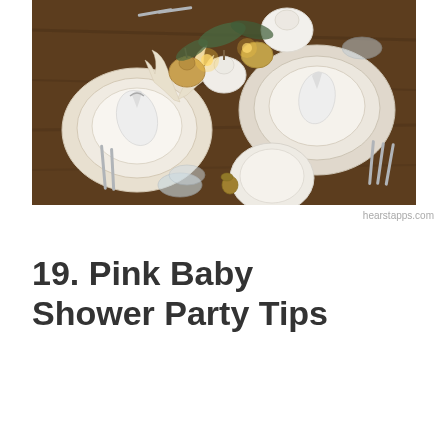[Figure (photo): Overhead view of an elegantly set dining table with white plates, white folded napkins, silver cutlery, crystal glassware, decorative white pumpkins, gold metallic pumpkins, antlers, and green foliage arranged as a centerpiece on a dark wood table.]
hearstapps.com
19. Pink Baby Shower Party Tips